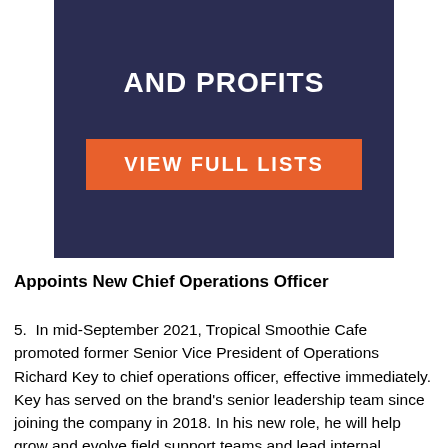[Figure (illustration): Dark navy blue banner with large white bold uppercase text 'AND PROFITS' at top, and an orange button below reading 'VIEW FULL LISTS']
Appoints New Chief Operations Officer
5.  In mid-September 2021, Tropical Smoothie Cafe promoted former Senior Vice President of Operations Richard Key to chief operations officer, effective immediately. Key has served on the brand's senior leadership team since joining the company in 2018. In his new role, he will help grow and evolve field support teams and lead internal initiatives that prioritize the Tropical Smoothie Cafe guest experience and